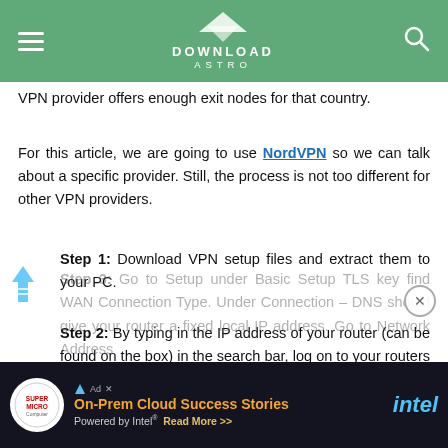DOWNLOAD ASTRO
VPN provider offers enough exit nodes for that country.
For this article, we are going to use NordVPN so we can talk about a specific provider. Still, the process is not too different for other VPN providers.
Step 1: Download VPN setup files and extract them to your PC.
Step 2: By typing in the IP address of your router (can be found on the box) in the search bar, log on to your routers administrative interface.
Step 3: Go to Setup under Basic Setup TLS key find WAN Connection Type. Under Connection – DNS should give your router a fixed local IP address. Go to Network Address
[Figure (screenshot): Advertisement banner: Supermicro On-Prem Cloud Success Stories Powered by Intel Read More]